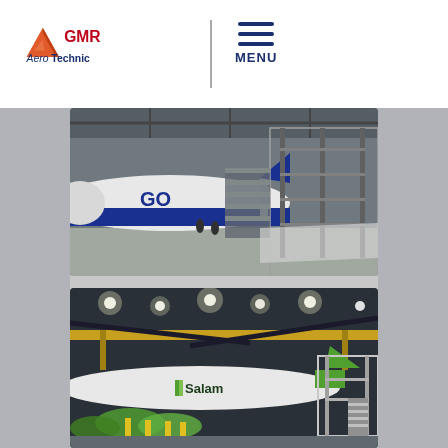[Figure (logo): GMR Aero Technic logo with orange triangle/mountain icon and GMR text in red, Aero Technic in dark blue, with hamburger menu icon and MENU text]
[Figure (photo): Aircraft in maintenance hangar with scaffolding and stairs, blue and white livery, overhead crane structure visible]
[Figure (photo): Aircraft in large hangar with overhead crane beam lit in yellow/orange, Salama airline livery, maintenance docks and green panels on floor]